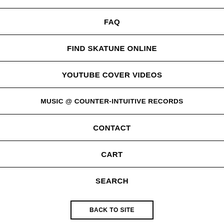FAQ
FIND SKATUNE ONLINE
YOUTUBE COVER VIDEOS
MUSIC @ COUNTER-INTUITIVE RECORDS
CONTACT
CART
SEARCH
BACK TO SITE